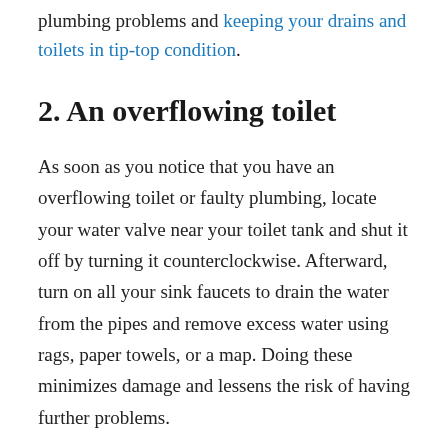plumbing problems and keeping your drains and toilets in tip-top condition.
2. An overflowing toilet
As soon as you notice that you have an overflowing toilet or faulty plumbing, locate your water valve near your toilet tank and shut it off by turning it counterclockwise. Afterward, turn on all your sink faucets to drain the water from the pipes and remove excess water using rags, paper towels, or a map. Doing these minimizes damage and lessens the risk of having further problems.
Finally, seek assistance from reputable plumbers